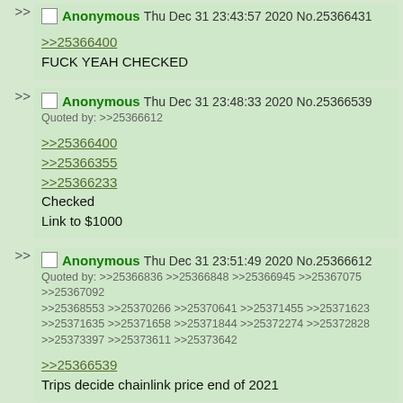Anonymous Thu Dec 31 23:43:57 2020 No.25366431
>>25366400
FUCK YEAH CHECKED
Anonymous Thu Dec 31 23:48:33 2020 No.25366539
Quoted by: >>25366612
>>25366400
>>25366355
>>25366233
Checked
Link to $1000
Anonymous Thu Dec 31 23:51:49 2020 No.25366612
Quoted by: >>25366836 >>25366848 >>25366945 >>25367075 >>25367092 >>25368553 >>25370266 >>25370641 >>25371455 >>25371623 >>25371635 >>25371658 >>25371844 >>25372274 >>25372828 >>25373397 >>25373611 >>25373642
>>25366539
Trips decide chainlink price end of 2021
Anonymous Fri Jan 1 00:00:33 2021 No.25366836